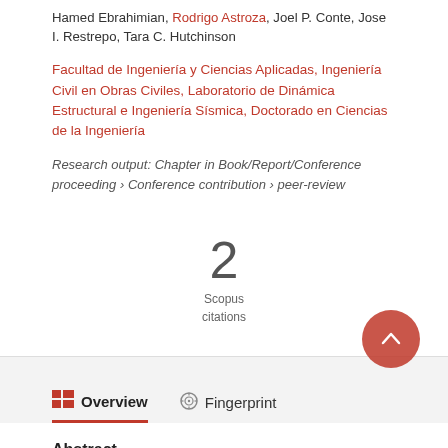Hamed Ebrahimian, Rodrigo Astroza, Joel P. Conte, Jose I. Restrepo, Tara C. Hutchinson
Facultad de Ingeniería y Ciencias Aplicadas, Ingeniería Civil en Obras Civiles, Laboratorio de Dinámica Estructural e Ingeniería Sísmica, Doctorado en Ciencias de la Ingeniería
Research output: Chapter in Book/Report/Conference proceeding › Conference contribution › peer-review
2 Scopus citations
Overview
Fingerprint
Abstract